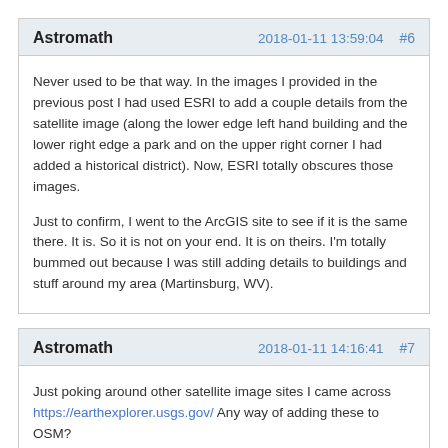Astromath  2018-01-11 13:59:04  #6
Never used to be that way.  In the images I provided in the previous post I had used ESRI to add a couple details from the satellite image (along the lower edge left hand building and the lower right edge a park and on the upper right corner I had added a historical district).  Now, ESRI totally obscures those images.
Just to confirm, I went to the ArcGIS site to see if it is the same there.  It is.  So it is not on your end.  It is on theirs.  I'm totally bummed out because I was still adding details to buildings and stuff around my area (Martinsburg, WV).
Astromath  2018-01-11 14:16:41  #7
Just poking around other satellite image sites I came across https://earthexplorer.usgs.gov/  Any way of adding these to OSM?